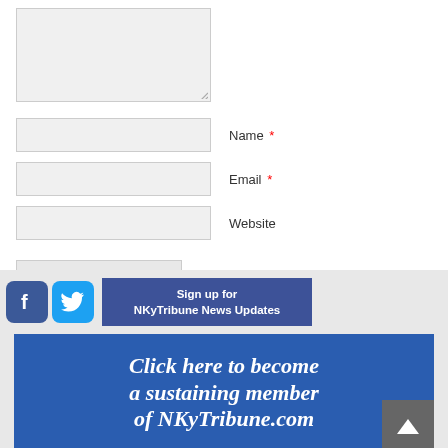[Figure (screenshot): Comment form textarea (empty, light gray background) with resize handle at bottom right]
Name *
Email *
Website
Submit Comment
[Figure (infographic): Social media icons (Facebook, Twitter) and a blue 'Sign up for NKyTribune News Updates' button, followed by a blue promotional banner reading 'Click here to become a sustaining member of NKyTribune.com' with a back-to-top arrow button]